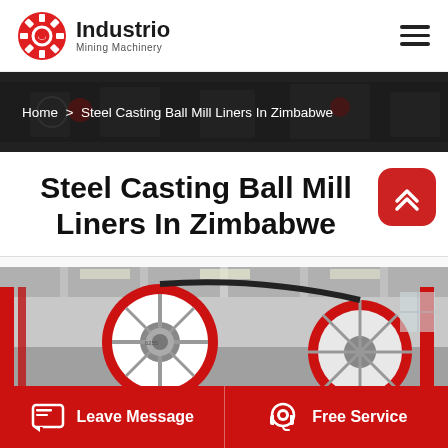Industrio Mining Machinery
[Figure (screenshot): Website breadcrumb banner showing machinery background with text: Home > Steel Casting Ball Mill Liners In Zimbabwe]
Home > Steel Casting Ball Mill Liners In Zimbabwe
Steel Casting Ball Mill Liners In Zimbabwe
[Figure (photo): Industrial machinery photo showing large red and white mill wheels/rolls in a factory setting with red structural beams visible]
Leave Message  Free Service